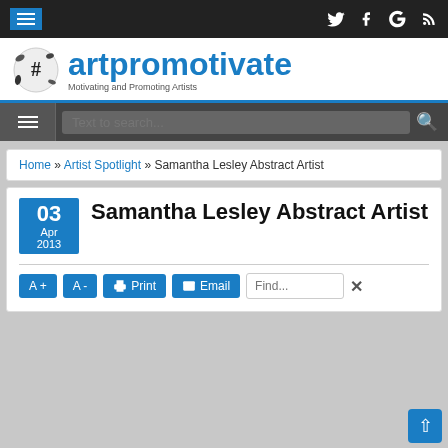artpromotivate — Motivating and Promoting Artists
Home » Artist Spotlight » Samantha Lesley Abstract Artist
Samantha Lesley Abstract Artist
03 Apr 2013
A+ | A- | Print | Email | Find...